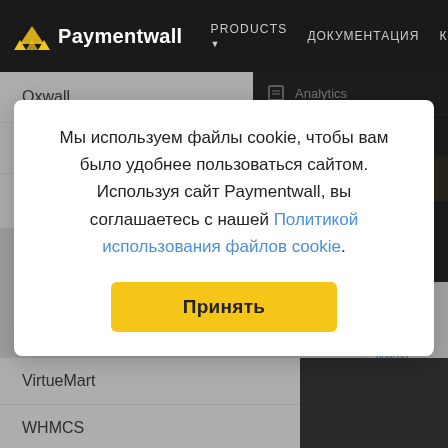Paymentwall — PRODUCTS ▼ ДОКУМЕНТАЦИЯ
Oxwall
PHPFox
Platform Integration
[Figure (screenshot): Paymentwall dashboard right panel showing Analytics, Payouts, My Projects (highlighted in yellow), Marketing tools menu items]
Мы используем файлы cookie, чтобы вам было удобнее пользоваться сайтом. Используя сайт Paymentwall, вы соглашаетесь с нашей Политикой использования файлов cookie.
VirtueMart
WHMCS